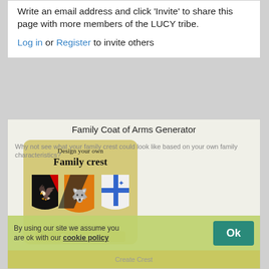Write an email address and click 'Invite' to share this page with more members of the LUCY tribe.
Log in or Register to invite others
Family Coat of Arms Generator
[Figure (illustration): Family crest generator advertisement showing three heraldic shields (black with eagle, orange with wolf, blue/white cross) with text 'Design your own Family crest', 'Using real heraldic imagery', 'Sweden101']
Why not see what your family crest could look like based on your own family characteristics?
By using our site we assume you are ok with our cookie policy
Ok
Create Crest